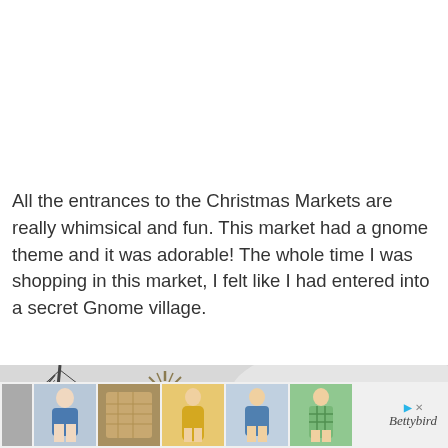All the entrances to the Christmas Markets are really whimsical and fun. This market had a gnome theme and it was adorable! The whole time I was shopping in this market, I felt like I had entered into a secret Gnome village.
[Figure (photo): Outdoor winter photo showing bare trees and a decorative sunburst/starburst ornament on a rooftop, with a pale grey sky background]
[Figure (photo): Advertisement strip showing five fashion clothing thumbnail images and a Bettybird ad badge]